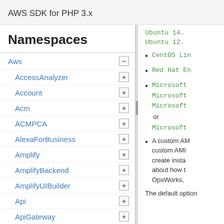AWS SDK for PHP 3.x
Namespaces
Aws
AccessAnalyzer
Account
Acm
ACMPCA
AlexaForBusiness
Amplify
AmplifyBackend
AmplifyUIBuilder
Api
ApiGateway
ApiGatewayManagementApi
Ubuntu 14.
Ubuntu 12.
CentOS Lin
Red Hat En
Microsoft
Microsoft
Microsoft
or
Microsoft
A custom AM custom AMI create insta about how t OpsWorks,
The default option